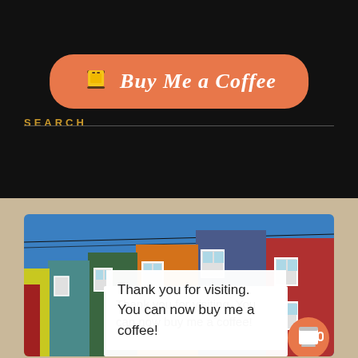[Figure (screenshot): Orange 'Buy Me a Coffee' button with a coffee cup icon on dark background]
SEARCH
[Figure (screenshot): Search bar with magnifying glass icon button on dark background]
[Figure (photo): Colorful row houses with blue sky, overlaid with white text box saying 'Thank you for visiting. You can now buy me a coffee!' and an orange coffee cup floating button]